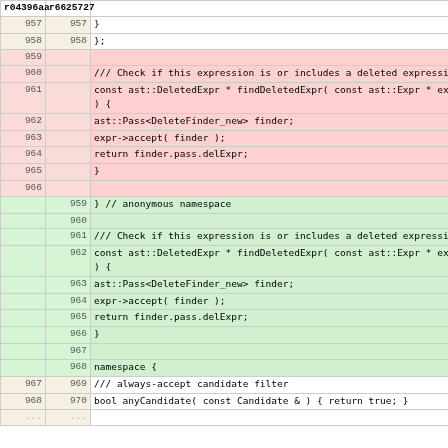| old | new | code |
| --- | --- | --- |
| r04396aa | r6625727 |  |
| 957 | 957 |                                 } |
| 958 | 958 |                             }; |
| 959 |  |  |
| 960 |  |                 /// Check if this expression is or includes a deleted expression |
| 961 |  |                 const ast::DeletedExpr * findDeletedExpr( const ast::Expr * expr ) { |
| 962 |  | ast::Pass<DeleteFinder_new> finder; |
| 963 |  |                         expr->accept( finder ); |
| 964 |  |                         return finder.pass.delExpr; |
| 965 |  |                     } |
| 966 |  |  |
|  | 959 |         } // anonymous namespace |
|  | 960 |  |
|  | 961 |     /// Check if this expression is or includes a deleted expression |
|  | 962 |     const ast::DeletedExpr * findDeletedExpr( const ast::Expr * expr ) { |
|  | 963 |         ast::Pass<DeleteFinder_new> finder; |
|  | 964 |         expr->accept( finder ); |
|  | 965 |         return finder.pass.delExpr; |
|  | 966 |     } |
|  | 967 |  |
|  | 968 |     namespace { |
| 967 | 969 |                 /// always-accept candidate filter |
| 968 | 970 |         bool anyCandidate( const Candidate & ) { return true; } |
| ... | ... |  |